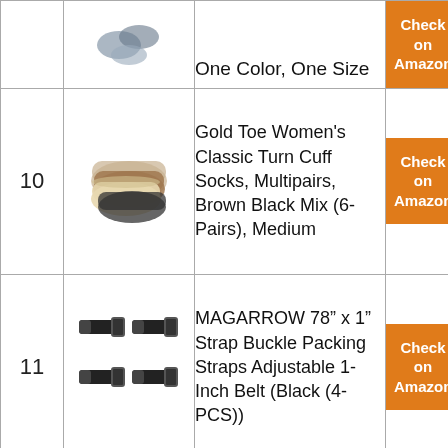| # | Image | Product | Link |
| --- | --- | --- | --- |
|  |  | One Color, One Size | Check on Amazon |
| 10 | [socks image] | Gold Toe Women’s Classic Turn Cuff Socks, Multipairs, Brown Black Mix (6-Pairs), Medium | Check on Amazon |
| 11 | [straps image] | MAGARROW 78” x 1” Strap Buckle Packing Straps Adjustable 1-Inch Belt (Black (4-PCS)) | Check on Amazon |
|  |  | Womens Wool |  |